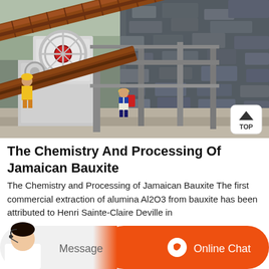[Figure (photo): Mining/quarry site with industrial crusher machinery, conveyor belts, support structures, workers visible; rocky cliff face in background]
The Chemistry And Processing Of Jamaican Bauxite
The Chemistry and Processing of Jamaican Bauxite The first commercial extraction of alumina Al2O3 from bauxite has been attributed to Henri Sainte-Claire Deville in
[Figure (screenshot): Bottom chat bar with customer service person photo, Message button on left (grey), Online Chat button on right (orange) with chat icon]